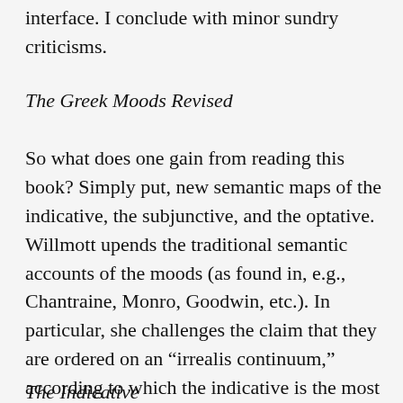interface. I conclude with minor sundry criticisms.
The Greek Moods Revised
So what does one gain from reading this book? Simply put, new semantic maps of the indicative, the subjunctive, and the optative. Willmott upends the traditional semantic accounts of the moods (as found in, e.g., Chantraine, Monro, Goodwin, etc.). In particular, she challenges the claim that they are ordered on an “irrealis continuum,” according to which the indicative is the most realis or factual, the subjunctive less so, and the optative least so.
The Indicative